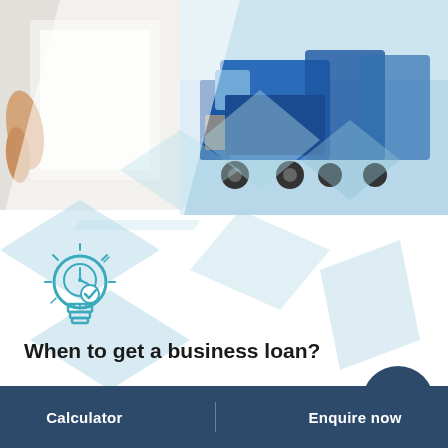[Figure (photo): Top banner with two photos: left side shows a hand holding a blank paper/document, right side shows blue semi-trucks parked in a row, overlaid with light blue diamond/triangle geometric shapes]
[Figure (illustration): Light bulb icon with a clock and checkmark inside, teal/blue outline style, representing timely business ideas]
When to get a business loan?
Businesses might need a loan at several stages of their development. Start-up businesses often need to borrow when buying their initial equipment or funding their premises. After a couple of years, businesses often want to fund their expansion
Calculator    Enquire now